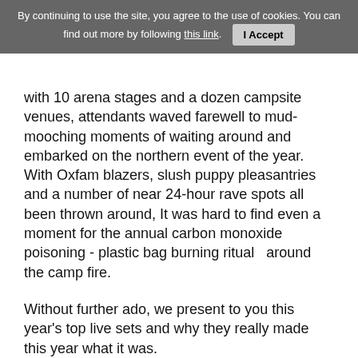By continuing to use the site, you agree to the use of cookies. You can find out more by following this link. I Accept
with 10 arena stages and a dozen campsite venues, attendants waved farewell to mud-mooching moments of waiting around and embarked on the northern event of the year. With Oxfam blazers, slush puppy pleasantries and a number of near 24-hour rave spots all been thrown around, It was hard to find even a moment for the annual carbon monoxide poisoning - plastic bag burning ritual  around the camp fire.
Without further ado, we present to you this year's top live sets and why they really made this year what it was.
Continue reading: Leeds Festival 2014 - Live Review